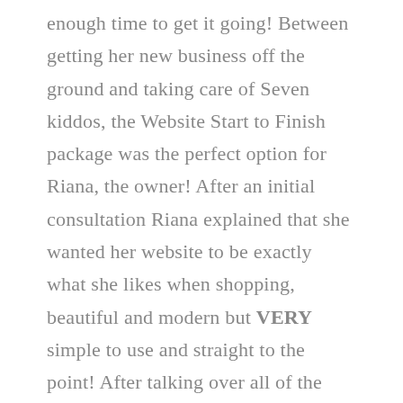enough time to get it going! Between getting her new business off the ground and taking care of Seven kiddos, the Website Start to Finish package was the perfect option for Riana, the owner! After an initial consultation Riana explained that she wanted her website to be exactly what she likes when shopping, beautiful and modern but VERY simple to use and straight to the point! After talking over all of the details and meeting on the different drafts, we were able to come up with a website that is the perfect combination of simple but also beautiful! Now Riana is enrolled in our Monthly